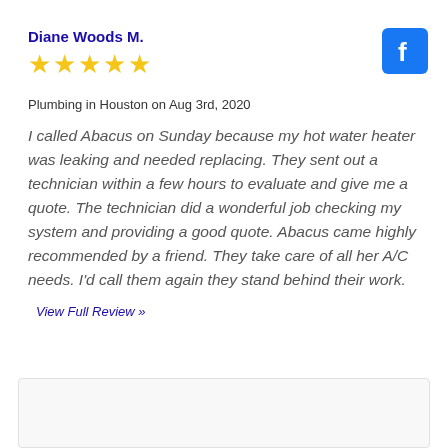Diane Woods M.
[Figure (other): Five gold star rating icons]
Plumbing in Houston on Aug 3rd, 2020
I called Abacus on Sunday because my hot water heater was leaking and needed replacing. They sent out a technician within a few hours to evaluate and give me a quote. The technician did a wonderful job checking my system and providing a good quote. Abacus came highly recommended by a friend. They take care of all her A/C needs. I'd call them again they stand behind their work.
View Full Review »
[Figure (logo): Facebook logo icon - white f on blue square background]